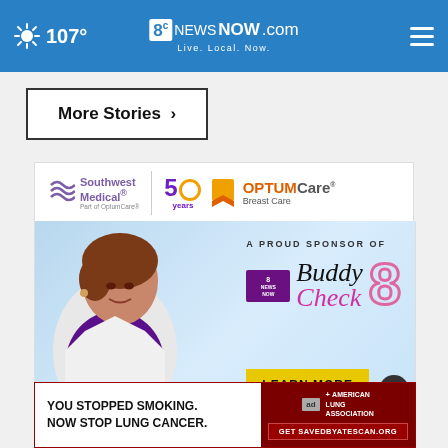107° | 8News NOW.com | Live. Local. Now.
More Stories ▶
[Figure (advertisement): Southwest Medical Part of OptumCare | 50 years | OPTUM Care Breast Care — A Proud Sponsor of 8 News Now Buddy Check 8. Shows female doctor in white coat. Includes LEARN MORE button and close button.]
[Figure (advertisement): American Lung Association ad: 'YOU STOPPED SMOKING. NOW STOP LUNG CANCER.' with SAVEDBYATESCAN.ORG call to action.]